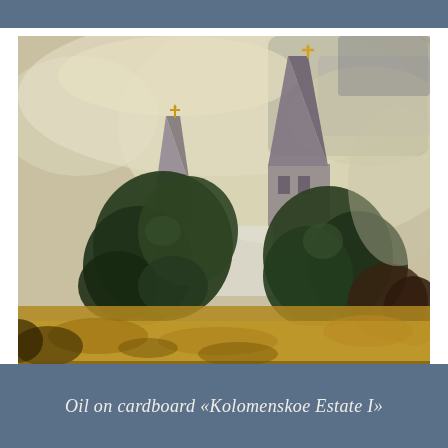[Figure (photo): Oil painting on cardboard depicting church towers with golden crosses rising above dense green trees against a dramatic sweeping sky with pale yellow and grey tones. Golden-ochre foreground meadow. Impressionist style painting of Kolomenskoe Estate, Russia.]
Oil on cardboard «Kolomenskoe Estate I»